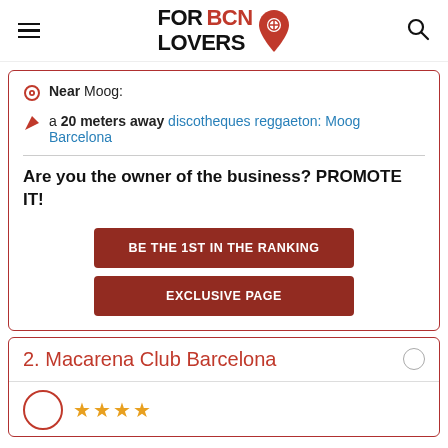FORBCN LOVERS
Near Moog:
a 20 meters away discotheques reggaeton: Moog Barcelona
Are you the owner of the business? PROMOTE IT!
BE THE 1ST IN THE RANKING
EXCLUSIVE PAGE
2. Macarena Club Barcelona